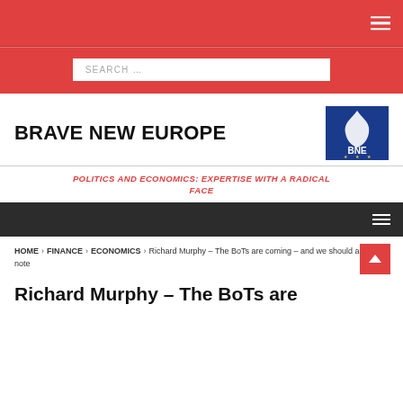[Figure (logo): Brave New Europe logo — blue background with white flame and BNE initials]
BRAVE NEW EUROPE
POLITICS AND ECONOMICS: EXPERTISE WITH A RADICAL FACE
HOME > FINANCE > ECONOMICS > Richard Murphy – The BoTs are coming – and we should all take note
Richard Murphy – The BoTs are